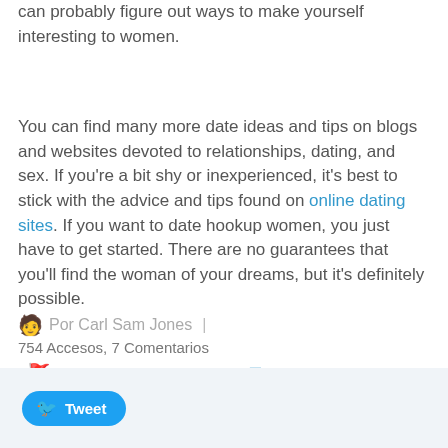can probably figure out ways to make yourself interesting to women.
You can find many more date ideas and tips on blogs and websites devoted to relationships, dating, and sex. If you're a bit shy or inexperienced, it's best to stick with the advice and tips found on online dating sites. If you want to date hookup women, you just have to get started. There are no guarantees that you'll find the woman of your dreams, but it's definitely possible.
Por Carl Sam Jones | 754 Accesos, 7 Comentarios
| Marcar como inapropiado | hookup apps
Tweet